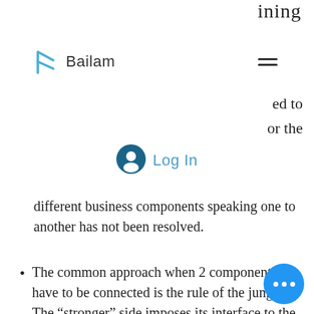ining
[Figure (logo): Bailam logo with blue arrow/play icon and text 'Bailam']
[Figure (other): Hamburger menu icon (three horizontal lines)]
ed to
or the
[Figure (other): User account circle icon with Log In text]
different business components speaking one to another has not been resolved.
The common approach when 2 components have to be connected is the rule of the jungle. The “stronger” side imposes its interface to the weaker and provides at b… data dictionary that is rare… very helpful.
[Figure (other): Blue circular chat bubble button with three dots]